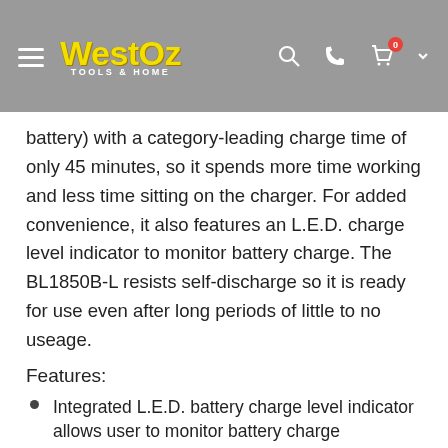WestOz Tools & Home
battery) with a category-leading charge time of only 45 minutes, so it spends more time working and less time sitting on the charger. For added convenience, it also features an L.E.D. charge level indicator to monitor battery charge. The BL1850B-L resists self-discharge so it is ready for use even after long periods of little to no useage.
Features:
Integrated L.E.D. battery charge level indicator allows user to monitor battery charge
Up to 66% more run time per charge compared to BL1830
Fast 45 minute charging time
Battery delivers consistent power and run time in